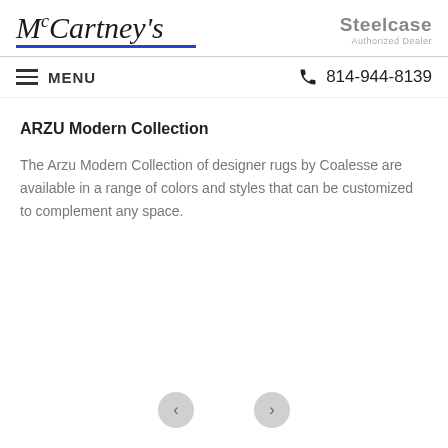McCartney's | Steelcase Authorized Dealer
≡ MENU   📞 814-944-8139
ARZU Modern Collection
The Arzu Modern Collection of designer rugs by Coalesse are available in a range of colors and styles that can be customized to complement any space.